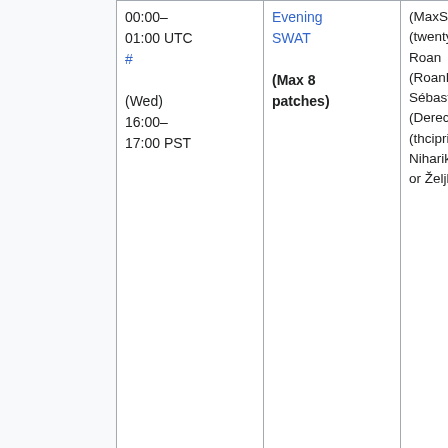|  | Time | Type | Names |
| --- | --- | --- | --- |
|  | 00:00–01:00 UTC # (Wed) 16:00–17:00 PST | Evening SWAT (Max 8 patches) | (MaxSem), Muk (twentyafter Roan (RoanKattouw Sébastien (Dereckson), T (thcipriani) Niharika (Niha or Željko (zelj |
|  | 01:00–02:00 UTC # (Wed) 17:00–18:00 PST | Phabricator update | Mukunda (twentyafter |
|  |  |  | addshore, Ant (hashar), Brad (anomie), Katie (aude), Max |